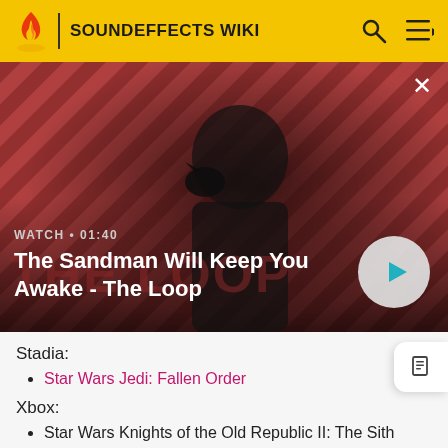SOUNDEFFECTS WIKI
[Figure (screenshot): Video thumbnail for 'The Sandman Will Keep You Awake - The Loop' showing a dark-cloaked figure with a raven on shoulder against a red and black diagonal striped background. Shows WATCH • 01:40 label and a play button.]
Stadia:
Star Wars Jedi: Fallen Order
Xbox:
Star Wars Knights of the Old Republic II: The Sith